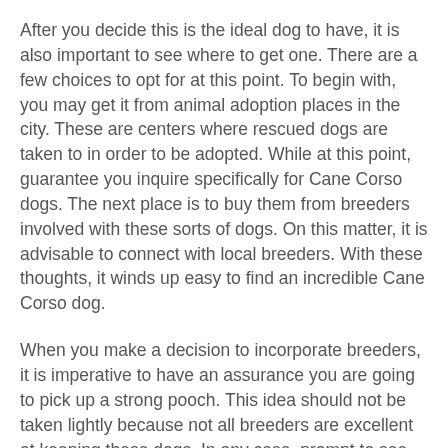After you decide this is the ideal dog to have, it is also important to see where to get one. There are a few choices to opt for at this point. To begin with, you may get it from animal adoption places in the city. These are centers where rescued dogs are taken to in order to be adopted. While at this point, guarantee you inquire specifically for Cane Corso dogs. The next place is to buy them from breeders involved with these sorts of dogs. On this matter, it is advisable to connect with local breeders. With these thoughts, it winds up easy to find an incredible Cane Corso dog.
When you make a decision to incorporate breeders, it is imperative to have an assurance you are going to pick up a strong pooch. This idea should not be taken lightly because not all breeders are excellent at keeping these dogs. In any case, prompt to see they have distinguishing strength to breed the supposed type. They should be able to care for the puppies in the most admirable manner. It is also essential to have a dog that is vaccinated. This should help the dog to be well, and